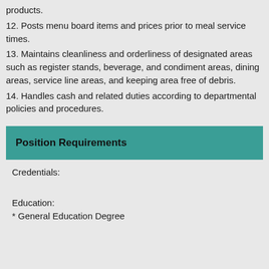products.
12. Posts menu board items and prices prior to meal service times.
13. Maintains cleanliness and orderliness of designated areas such as register stands, beverage, and condiment areas, dining areas, service line areas, and keeping area free of debris.
14. Handles cash and related duties according to departmental policies and procedures.
Position Requirements
Credentials:
Education:
* General Education Degree